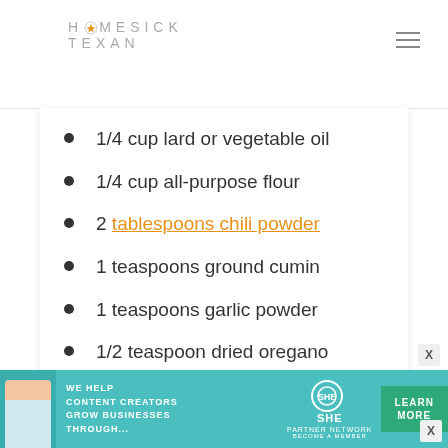HOMESICK TEXAN
1/4 cup lard or vegetable oil
1/4 cup all-purpose flour
2 tablespoons chili powder
1 teaspoons ground cumin
1 teaspoons garlic powder
1/2 teaspoon dried oregano
1/2 teaspoon kosher salt
1/2 teaspoon black pepper
[Figure (infographic): Advertisement banner for SHE Media Partner Network: 'We help content creators grow businesses through...' with a Learn More button]